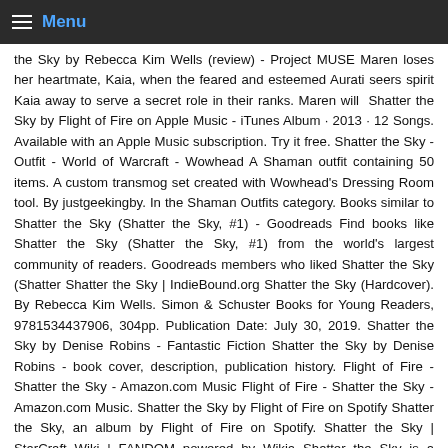Menu
the Sky by Rebecca Kim Wells (review) - Project MUSE Maren loses her heartmate, Kaia, when the feared and esteemed Aurati seers spirit Kaia away to serve a secret role in their ranks. Maren will Shatter the Sky by Flight of Fire on Apple Music - iTunes Album · 2013 · 12 Songs. Available with an Apple Music subscription. Try it free. Shatter the Sky - Outfit - World of Warcraft - Wowhead A Shaman outfit containing 50 items. A custom transmog set created with Wowhead's Dressing Room tool. By justgeekingby. In the Shaman Outfits category. Books similar to Shatter the Sky (Shatter the Sky, #1) - Goodreads Find books like Shatter the Sky (Shatter the Sky, #1) from the world's largest community of readers. Goodreads members who liked Shatter the Sky (Shatter Shatter the Sky | IndieBound.org Shatter the Sky (Hardcover). By Rebecca Kim Wells. Simon & Schuster Books for Young Readers, 9781534437906, 304pp. Publication Date: July 30, 2019. Shatter the Sky by Denise Robins - Fantastic Fiction Shatter the Sky by Denise Robins - book cover, description, publication history. Flight of Fire - Shatter the Sky - Amazon.com Music Flight of Fire - Shatter the Sky - Amazon.com Music. Shatter the Sky by Flight of Fire on Spotify Shatter the Sky, an album by Flight of Fire on Spotify. Shatter the Sky | StarCraft Wiki | FANDOM powered by Wikia Shatter the Sky is a StarCraft II: Wings of Liberty mission. Completing it in place of the mission "Belly of the Beast" prevents the zerg from using mutalisks, brood Shatter the Sky: Denise Robins: 9780340151105: Amazon.com: Books Shatter the Sky [Denise Robins] on Amazon.com. *FREE* shipping on qualifying offers. Shatter The Sky - By Rebecca Kim Wells (Hardcover) : Target A determined young woman sets out